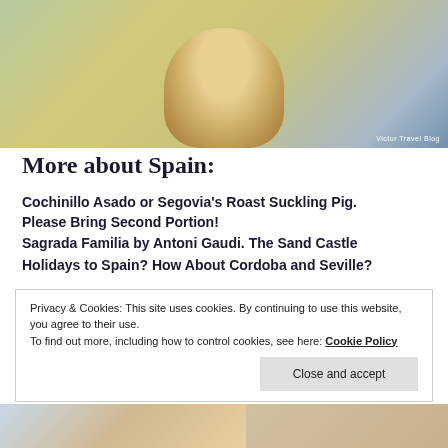[Figure (photo): A man in a light yellow/white checked shirt sitting at a table, with plants and blue elements in the background. Watermark reads 'Victor Travel Blog'.]
More about Spain:
Cochinillo Asado or Segovia’s Roast Suckling Pig. Please Bring Second Portion!
Sagrada Familia by Antoni Gaudi. The Sand Castle
Holidays to Spain? How About Cordoba and Seville?
Privacy & Cookies: This site uses cookies. By continuing to use this website, you agree to their use.
To find out more, including how to control cookies, see here: Cookie Policy
[Figure (photo): Two partial photos at the bottom of the page.]